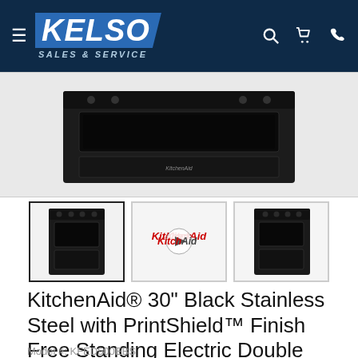[Figure (logo): Kelso Sales & Service logo with hamburger menu icon and navigation icons (search, cart, phone) on dark navy header]
[Figure (photo): Main product photo of KitchenAid black stainless steel double oven range, showing oven window detail on grey background]
[Figure (photo): Thumbnail 1: KitchenAid black stainless double oven range full front view]
[Figure (photo): Thumbnail 2: KitchenAid video thumbnail with play button]
[Figure (photo): Thumbnail 3: KitchenAid black stainless double oven range side angle view]
KitchenAid® 30" Black Stainless Steel with PrintShield™ Finish Free Standing Electric Double Convection Range
Model #: KFED500EBS